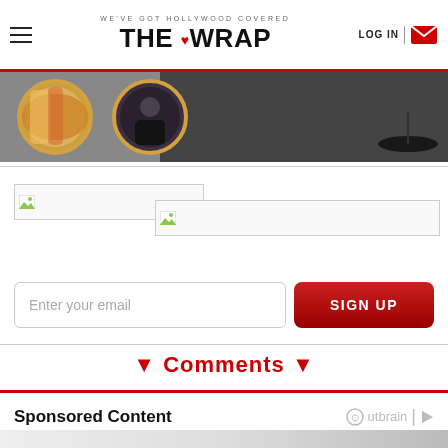WE'VE GOT HOLLYWOOD COVERED — THE WRAP | LOG IN
[Figure (photo): Hero image showing two circular framed portraits against a dark background, with a dark disc object on the right]
[Figure (other): Broken image placeholder 1]
[Figure (other): Broken image placeholder 2]
Enter your email
SIGN UP
▼ Comments ▼
Sponsored Content
Outbrain